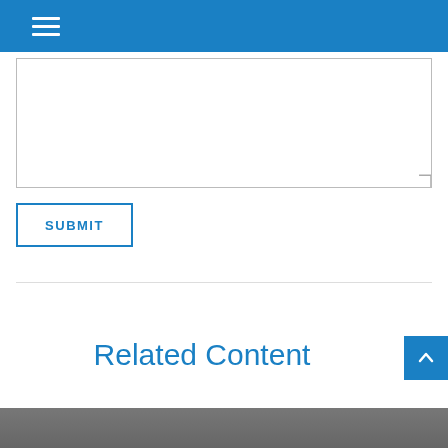Navigation menu
[Figure (screenshot): Empty text area input box with resize handle]
SUBMIT
Related Content
[Figure (photo): Gray background photo at bottom of page]